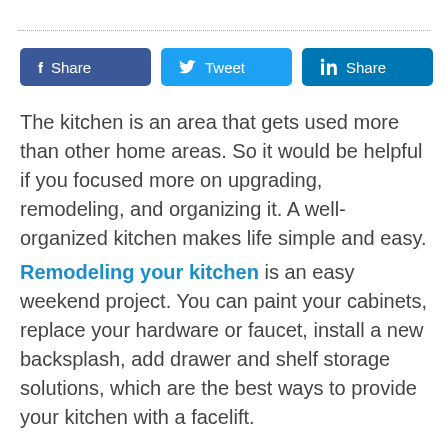[Figure (other): Social share buttons: Facebook Share, Tweet, LinkedIn Share]
The kitchen is an area that gets used more than other home areas. So it would be helpful if you focused more on upgrading, remodeling, and organizing it. A well-organized kitchen makes life simple and easy.
Remodeling your kitchen is an easy weekend project. You can paint your cabinets, replace your hardware or faucet, install a new backsplash, add drawer and shelf storage solutions, which are the best ways to provide your kitchen with a facelift.